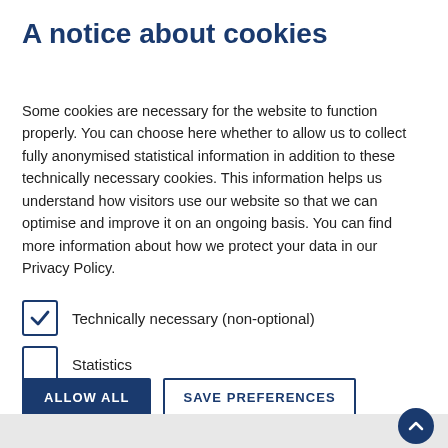A notice about cookies
Some cookies are necessary for the website to function properly. You can choose here whether to allow us to collect fully anonymised statistical information in addition to these technically necessary cookies. This information helps us understand how visitors use our website so that we can optimise and improve it on an ongoing basis. You can find more information about how we protect your data in our Privacy Policy.
Technically necessary (non-optional) [checked]
Statistics [unchecked]
ALLOW ALL | SAVE PREFERENCES